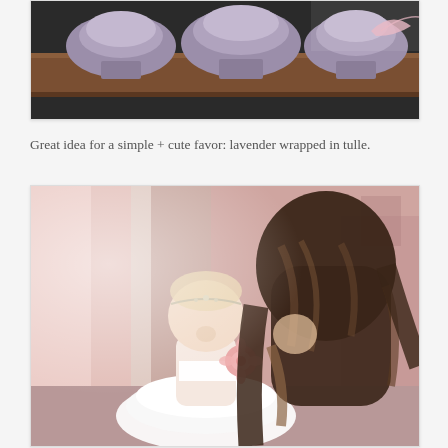[Figure (photo): Close-up photo of lavender bundles wrapped in tulle with pink ribbon, arranged on a wooden tray on a dark surface.]
Great idea for a simple + cute favor: lavender wrapped in tulle.
[Figure (photo): Photo of a baby in a white tulle dress with a rhinestone headband, and a woman with long brunette hair, both smelling a pink flower together.]